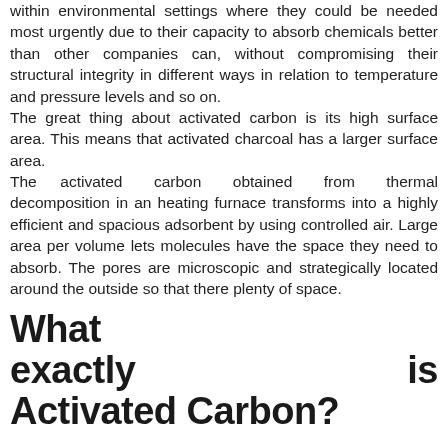within environmental settings where they could be needed most urgently due to their capacity to absorb chemicals better than other companies can, without compromising their structural integrity in different ways in relation to temperature and pressure levels and so on.
The great thing about activated carbon is its high surface area. This means that activated charcoal has a larger surface area.
The activated carbon obtained from thermal decomposition in an heating furnace transforms into a highly efficient and spacious adsorbent by using controlled air. Large area per volume lets molecules have the space they need to absorb. The pores are microscopic and strategically located around the outside so that there plenty of space.
What exactly is Activated Carbon?